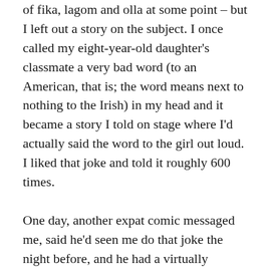of fika, lagom and olla at some point – but I left out a story on the subject. I once called my eight-year-old daughter's classmate a very bad word (to an American, that is; the word means next to nothing to the Irish) in my head and it became a story I told on stage where I'd actually said the word to the girl out loud. I liked that joke and told it roughly 600 times.

One day, another expat comic messaged me, said he'd seen me do that joke the night before, and he had a virtually identical joke where he said a different bad word to his neighbor's kid. I told him I'd never heard him do it and it was clearly just parallel thinking. A few weeks later he told a